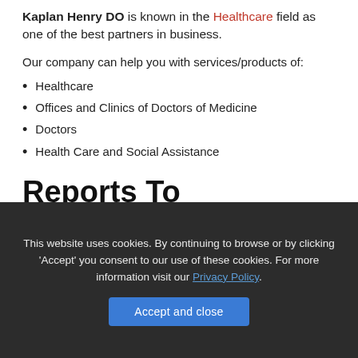Kaplan Henry DO is known in the Healthcare field as one of the best partners in business.
Our company can help you with services/products of:
Healthcare
Offices and Clinics of Doctors of Medicine
Doctors
Health Care and Social Assistance
Reports To
This website uses cookies. By continuing to browse or by clicking 'Accept' you consent to our use of these cookies. For more information visit our Privacy Policy.
Accept and close